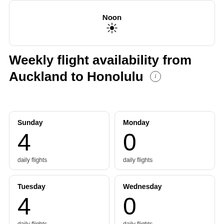[Figure (infographic): Clock or time indicator showing Noon with a sun icon below]
Weekly flight availability from Auckland to Honolulu ℹ
Sunday
4
daily flights
Monday
0
daily flights
Tuesday
4
daily flights
Wednesday
0
daily flights